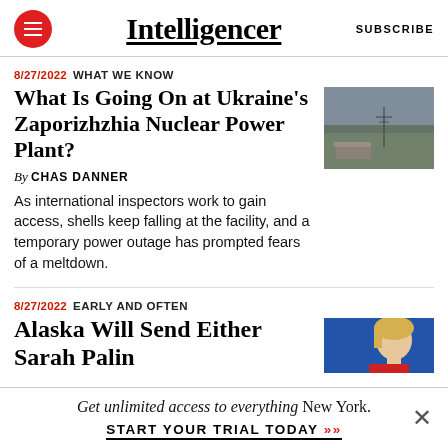Intelligencer
8/27/2022  WHAT WE KNOW
What Is Going On at Ukraine’s Zaporizhzhia Nuclear Power Plant?
By CHAS DANNER
As international inspectors work to gain access, shells keep falling at the facility, and a temporary power outage has prompted fears of a meltdown.
[Figure (photo): Aerial or distant landscape photo showing fields and infrastructure, overcast sky]
8/27/2022  EARLY AND OFTEN
Alaska Will Send Either Sarah Palin
[Figure (photo): Close-up photo of a person with blonde hair against a blue background]
Get unlimited access to everything New York.
START YOUR TRIAL TODAY »